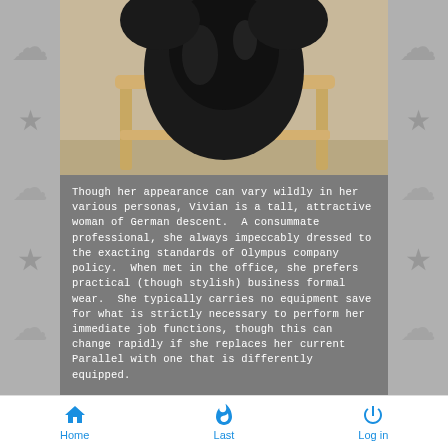[Figure (photo): Photo of a person dressed in dark clothing seated on a wooden ornate chair, seen from behind/side angle. The image is partially cropped at the top.]
Though her appearance can vary wildly in her various personas, Vivian is a tall, attractive woman of German descent.  A consummate professional, she always impeccably dressed to the exacting standards of Olympus company policy.  When met in the office, she prefers practical (though stylish) business formal wear.  She typically carries no equipment save for what is strictly necessary to perform her immediate job functions, though this can change rapidly if she replaces her current Parallel with one that is differently equipped.
Home   Last   Log in